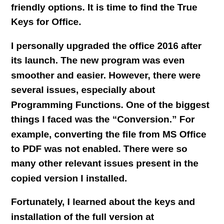friendly options. It is time to find the True Keys for Office.
I personally upgraded the office 2016 after its launch. The new program was even smoother and easier. However, there were several issues, especially about Programming Functions. One of the biggest things I faced was the “Conversion.” For example, converting the file from MS Office to PDF was not enabled. There were so many other relevant issues present in the copied version I installed.
Fortunately, I learned about the keys and installation of the full version at BZFuture.com. I discovered several product keys or activation keys while searching for solutions online. This technical support hub brought me to a new world where I learned how to look for the Original keys. I uninstalled the MS Office 2016 version